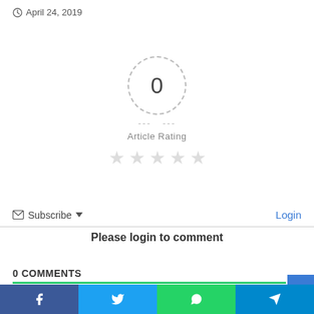April 24, 2019
[Figure (other): Article rating widget showing 0 rating in a dashed circle with 5 empty stars below and 'Article Rating' label]
Subscribe
Login
Please login to comment
0 COMMENTS
[Figure (other): Social share bottom bar with Facebook, Twitter, WhatsApp, and Telegram buttons]